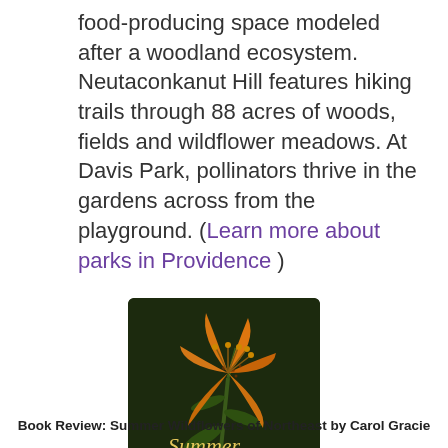food-producing space modeled after a woodland ecosystem. Neutaconkanut Hill features hiking trails through 88 acres of woods, fields and wildflower meadows. At Davis Park, pollinators thrive in the gardens across from the playground. (Learn more about parks in Providence )
[Figure (photo): Book cover image for 'Summer Wildflowers of the Northeast' showing an orange lily flower against a dark background with cursive and serif text]
Book Review: Summer Wildflowers of Northeast by Carol Gracie